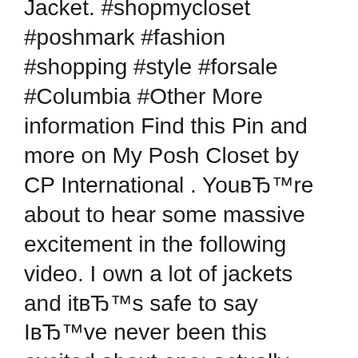Jacket. #shopmycloset #poshmark #fashion #shopping #style #forsale #Columbia #Other More information Find this Pin and more on My Posh Closet by CP International . YouвЂ™re about to hear some massive excitement in the following video. I own a lot of jackets and itвЂ™s safe to say IвЂ™ve never been this excited about one; actually two, as youвЂ™re about to find out. Enter: ColumbiaвЂ™s Back To Hells Mountain Interchange Jacket.
Shop for great deals on Columbia Men's Northbounder Interchange Jacket and other Columbia Mens Jackets at Mountain Steals. Find helpful customer